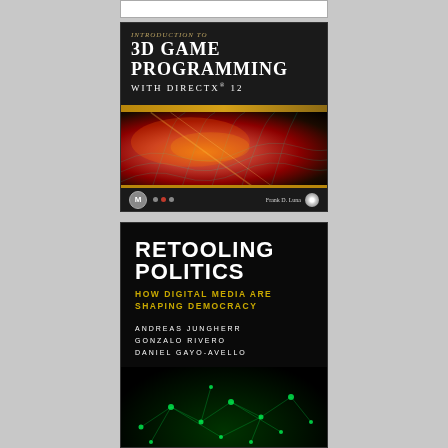[Figure (illustration): Book cover: Introduction to 3D Game Programming with DirectX 12 by Frank D. Luna. Black background with gold/orange 3D wave mesh graphic, publisher logo M, colored dots, and CD icon.]
[Figure (illustration): Book cover: Retooling Politics — How Digital Media Are Shaping Democracy by Andreas Jungherr, Gonzalo Rivero, Daniel Gayo-Avello. Dark background with green network node graphic and gold subtitle text.]